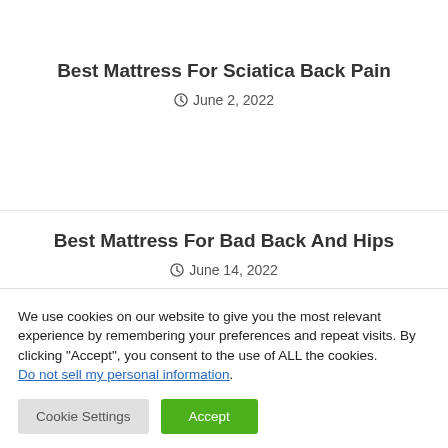Best Mattress For Sciatica Back Pain
June 2, 2022
Best Mattress For Bad Back And Hips
June 14, 2022
We use cookies on our website to give you the most relevant experience by remembering your preferences and repeat visits. By clicking “Accept”, you consent to the use of ALL the cookies.
Do not sell my personal information.
Cookie Settings
Accept